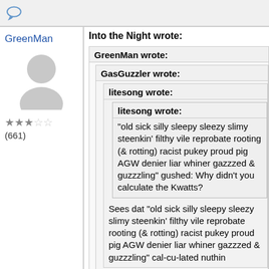GreenMan
[Figure (illustration): Generic user avatar silhouette in grey]
★★★☆☆ (661)
Into the Night wrote:
GreenMan wrote:
GasGuzzler wrote:
litesong wrote:
litesong wrote:
"old sick silly sleepy sleezy slimy steenkin' filthy vile reprobate rooting (& rotting) racist pukey proud pig AGW denier liar whiner gazzzed & guzzzling" gushed: Why didn't you calculate the Kwatts?
Sees dat "old sick silly sleepy sleezy slimy steenkin' filthy vile reprobate rooting (& rotting) racist pukey proud pig AGW denier liar whiner gazzzed & guzzzling" cal-cu-lated nuthin
Meanwhile: